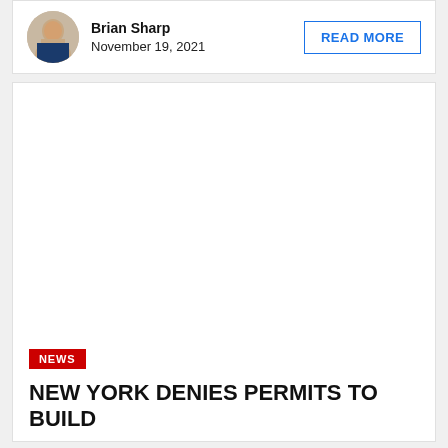Brian Sharp
November 19, 2021
READ MORE
[Figure (photo): Headshot photo of Brian Sharp]
NEWS
NEW YORK DENIES PERMITS TO BUILD